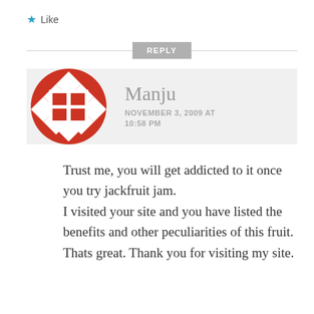★ Like
REPLY
[Figure (illustration): Round avatar icon with red and white checkerboard/diamond pattern and a white grid square in the center, for user Manju]
Manju
NOVEMBER 3, 2009 AT 10:58 PM
Trust me, you will get addicted to it once you try jackfruit jam. I visited your site and you have listed the benefits and other peculiarities of this fruit. Thats great. Thank you for visiting my site.